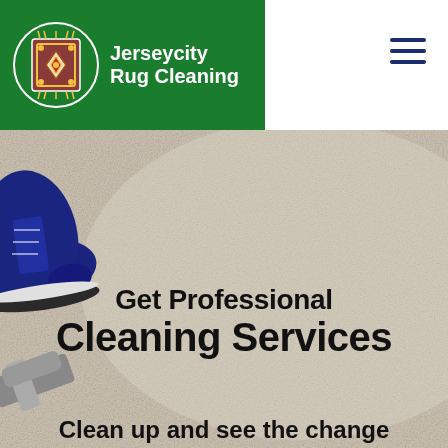[Figure (logo): Jerseycity Rug Cleaning logo: green banner with rug icon and white bold text]
[Figure (photo): Close-up of beige carpet with a navy sneaker on the left side and cleaning equipment visible at bottom left]
Get Professional Cleaning Services
Clean up and see the change